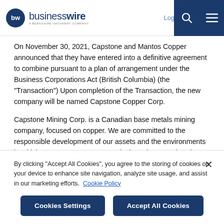businesswire — A Berkshire Hathaway Company | Log In | Sign Up
On November 30, 2021, Capstone and Mantos Copper announced that they have entered into a definitive agreement to combine pursuant to a plan of arrangement under the Business Corporations Act (British Columbia) (the "Transaction") Upon completion of the Transaction, the new company will be named Capstone Copper Corp.
Capstone Mining Corp. is a Canadian base metals mining company, focused on copper. We are committed to the responsible development of our assets and the environments in which we operate. Our two producing mines are the Pinto Valley copper mine
By clicking "Accept All Cookies", you agree to the storing of cookies on your device to enhance site navigation, analyze site usage, and assist in our marketing efforts.  Cookie Policy
Cookies Settings | Accept All Cookies